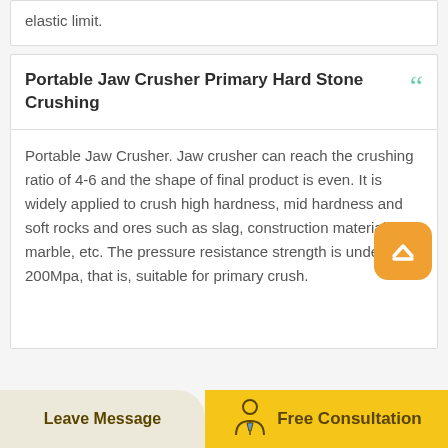elastic limit.
Portable Jaw Crusher Primary Hard Stone Crushing
Portable Jaw Crusher. Jaw crusher can reach the crushing ratio of 4-6 and the shape of final product is even. It is widely applied to crush high hardness, mid hardness and soft rocks and ores such as slag, construction materials, marble, etc. The pressure resistance strength is under 200Mpa, that is, suitable for primary crush.
Leave Message   Free Consultation